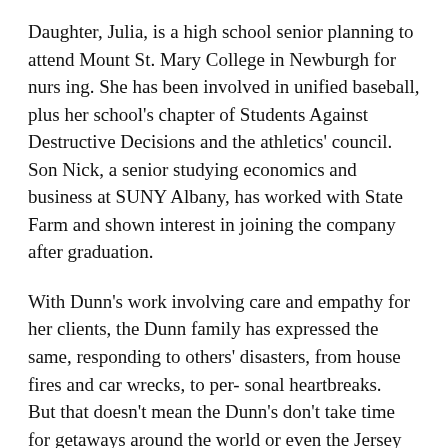Daughter, Julia, is a high school senior planning to attend Mount St. Mary College in Newburgh for nursing. She has been involved in unified baseball, plus her school's chapter of Students Against Destructive Decisions and the athletics' council. Son Nick, a senior studying economics and business at SUNY Albany, has worked with State Farm and shown interest in joining the company after graduation.
With Dunn's work involving care and empathy for her clients, the Dunn family has expressed the same, responding to others' disasters, from house fires and car wrecks, to per- sonal heartbreaks.
But that doesn't mean the Dunn's don't take time for getaways around the world or even the Jersey Shore.
"We take time every day to touch base with each other," said Dunn. "We also have an extended wealth of friends who have become like family. We all love being at home, sharing all life has to offer."